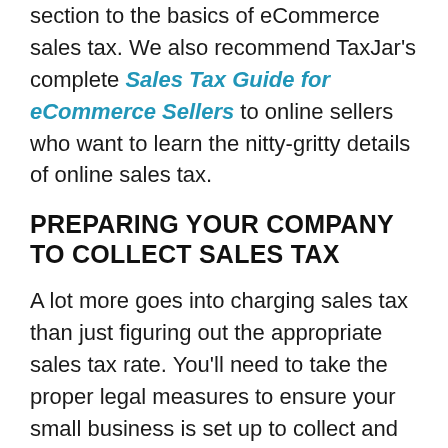section to the basics of eCommerce sales tax. We also recommend TaxJar's complete Sales Tax Guide for eCommerce Sellers to online sellers who want to learn the nitty-gritty details of online sales tax.
PREPARING YOUR COMPANY TO COLLECT SALES TAX
A lot more goes into charging sales tax than just figuring out the appropriate sales tax rate. You'll need to take the proper legal measures to ensure your small business is set up to collect and pay sales